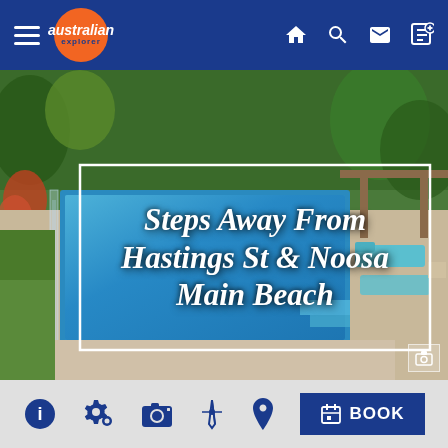Australian Explorer navigation bar with hamburger menu, logo, home, search, mail, and add icons
[Figure (photo): Aerial/overhead view of a swimming pool surrounded by tropical garden and paved patio with sun loungers, with text overlay reading 'Steps Away From Hastings St & Noosa Main Beach' inside a white-bordered rectangle]
[Figure (infographic): Action bar with icons: info (i), settings/gear, camera, compass/ruler, location pin, and a BOOK button]
BELLI STREET 3
HOUSE  NOOSA HEADS, QLD